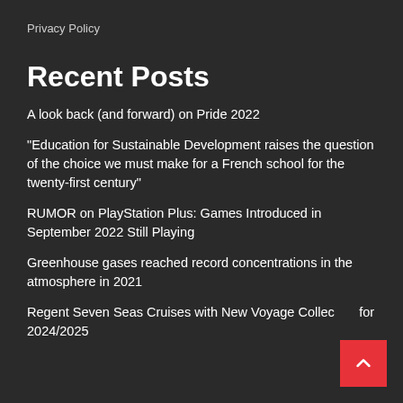Privacy Policy
Recent Posts
A look back (and forward) on Pride 2022
“Education for Sustainable Development raises the question of the choice we must make for a French school for the twenty-first century”
RUMOR on PlayStation Plus: Games Introduced in September 2022 Still Playing
Greenhouse gases reached record concentrations in the atmosphere in 2021
Regent Seven Seas Cruises with New Voyage Collection for 2024/2025